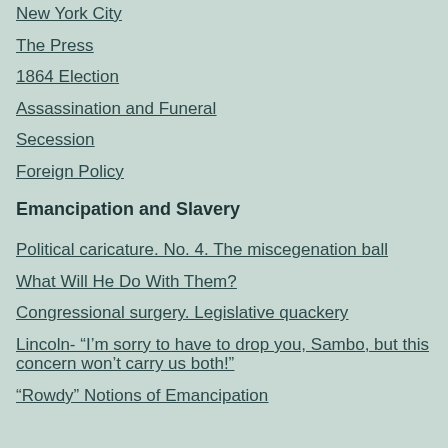New York City
The Press
1864 Election
Assassination and Funeral
Secession
Foreign Policy
Emancipation and Slavery
Political caricature. No. 4. The miscegenation ball
What Will He Do With Them?
Congressional surgery. Legislative quackery
Lincoln- “I’m sorry to have to drop you, Sambo, but this concern won’t carry us both!”
“Rowdy” Notions of Emancipation